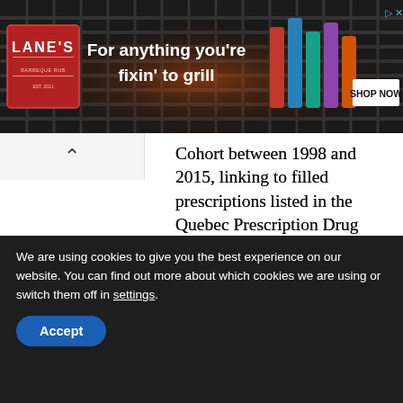[Figure (photo): Advertisement banner for Lane's BBQ seasoning. Shows Lane's logo on dark background with spice bottles and 'For anything you're fixin' to grill' tagline with 'SHOP NOW' button.]
Cohort between 1998 and 2015, linking to filled prescriptions listed in the Quebec Prescription Drug Insurance database. They found that taking oral fluconazole was linked to adverse outcomes.
“Our study shows that taking any dose of oral fluconazole while pregnant may be associated with a higher chance of miscarriage,” says Dr. Anick Bérard, Université de Montréal, Montréal, Quebec. “Taking higher doses of
We are using cookies to give you the best experience on our website. You can find out more about which cookies we are using or switch them off in settings.
Accept